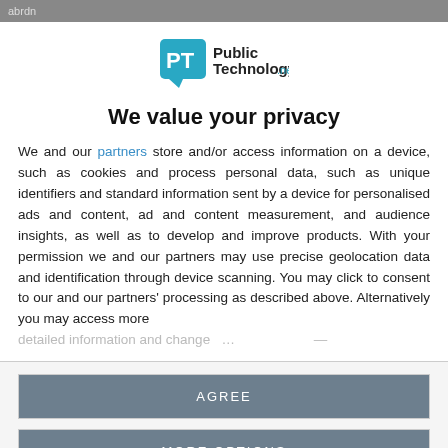abrdn
[Figure (logo): PublicTechnology.net logo — speech bubble icon with 'PT' and text 'Public Technology.net']
We value your privacy
We and our partners store and/or access information on a device, such as cookies and process personal data, such as unique identifiers and standard information sent by a device for personalised ads and content, ad and content measurement, and audience insights, as well as to develop and improve products. With your permission we and our partners may use precise geolocation data and identification through device scanning. You may click to consent to our and our partners' processing as described above. Alternatively you may access more detailed information and change...
AGREE
MORE OPTIONS